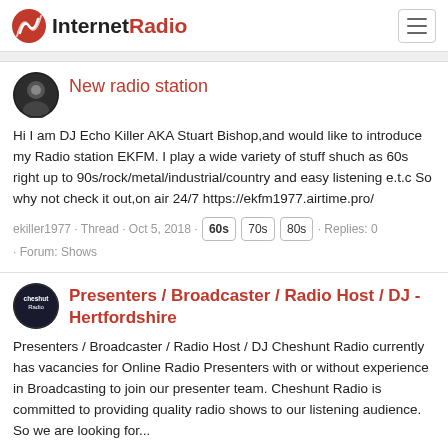InternetRadio
New radio station
Hi I am DJ Echo Killer AKA Stuart Bishop,and would like to introduce my Radio station EKFM. I play a wide variety of stuff shuch as 60s right up to 90s/rock/metal/industrial/country and easy listening e.t.c So why not check it out,on air 24/7 https://ekfm1977.airtime.pro/
ekiller1977 · Thread · Oct 5, 2018 · 60s 70s 80s · Replies: 0 · Forum: Shows
Presenters / Broadcaster / Radio Host / DJ - Hertfordshire
Presenters / Broadcaster / Radio Host / DJ Cheshunt Radio currently has vacancies for Online Radio Presenters with or without experience in Broadcasting to join our presenter team. Cheshunt Radio is committed to providing quality radio shows to our listening audience. So we are looking for...
CHESHUNT RADIO · Thread · Nov 17, 2017 · 60s 70s 80s 90s cheshunt cheshunt radio presenters rock top40